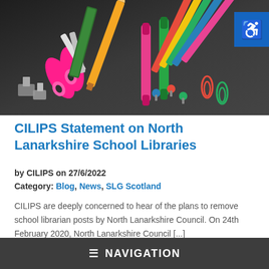[Figure (photo): Colorful school supplies on a dark chalkboard surface: pink scissors, colored pencils, green marker, pushpins, paper clips, ruler. An accessibility badge (wheelchair icon) appears in the top-right corner.]
CILIPS Statement on North Lanarkshire School Libraries
by CILIPS on 27/6/2022
Category: Blog, News, SLG Scotland
CILIPS are deeply concerned to hear of the plans to remove school librarian posts by North Lanarkshire Council. On 24th February 2020, North Lanarkshire Council [...]
≡ NAVIGATION